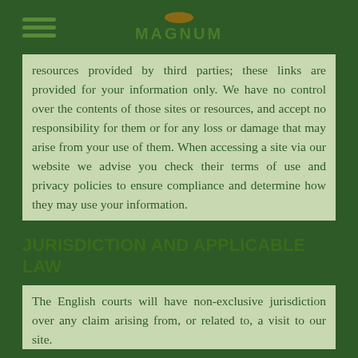MAGNUM
resources provided by third parties; these links are provided for your information only. We have no control over the contents of those sites or resources, and accept no responsibility for them or for any loss or damage that may arise from your use of them. When accessing a site via our website we advise you check their terms of use and privacy policies to ensure compliance and determine how they may use your information.
JURISDICTION AND APPLICABLE LAW
The English courts will have non-exclusive jurisdiction over any claim arising from, or related to, a visit to our site.